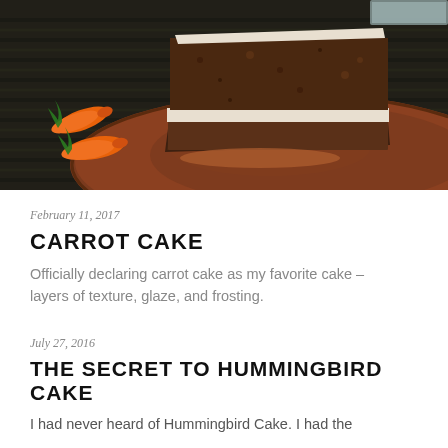[Figure (photo): A slice of carrot cake on a round brown ceramic plate, with small decorative carrots visible in the background on a dark woven surface. The cake shows layers with cream cheese frosting.]
February 11, 2017
CARROT CAKE
Officially declaring carrot cake as my favorite cake – layers of texture, glaze, and frosting.
July 27, 2016
THE SECRET TO HUMMINGBIRD CAKE
I had never heard of Hummingbird Cake. I had the